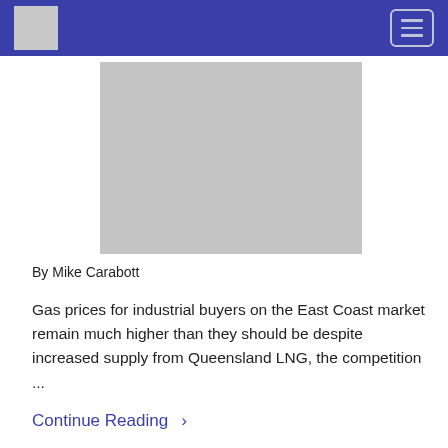Navigation bar with logo and hamburger menu
[Figure (photo): Large grey placeholder image for article hero photo]
By Mike Carabott
Gas prices for industrial buyers on the East Coast market remain much higher than they should be despite increased supply from Queensland LNG, the competition ...
Continue Reading >